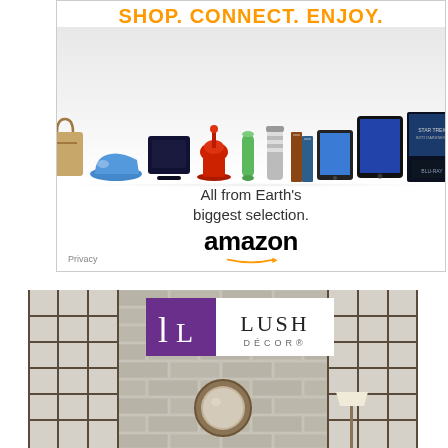[Figure (advertisement): Amazon advertisement showing 'SHOP. CONNECT. ENJOY.' tagline in orange with product images (bag, shoes, PS4, KitchenAid mixer, tablets, books, Star Trek movie). Text reads 'All from Earth's biggest selection.' with Amazon logo and arrow. Privacy label at bottom left.]
[Figure (advertisement): Lush Decor advertisement showing brand logo (purple square with L icon next to white box with 'LUSH DECOR' text), set against a brick wall background with industrial window frames. A round brown-framed mirror is centered on the brick wall. A floor lamp is visible at right.]